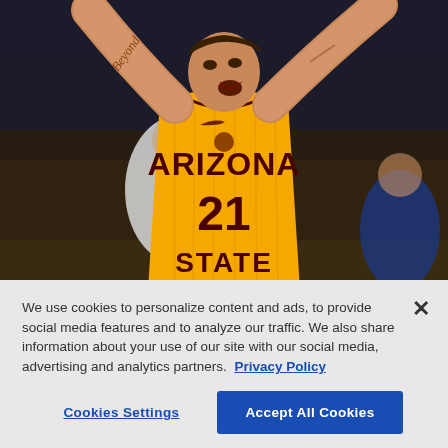[Figure (photo): Arizona State basketball player wearing gold jersey number 21 with 'ARIZONA STATE' text, arms raised, appears to be celebrating or shooting, with tattoo reading 'Beyond' on arm. Background shows arena with other people in white shirts.]
We use cookies to personalize content and ads, to provide social media features and to analyze our traffic. We also share information about your use of our site with our social media, advertising and analytics partners.  Privacy Policy
Cookies Settings
Accept All Cookies